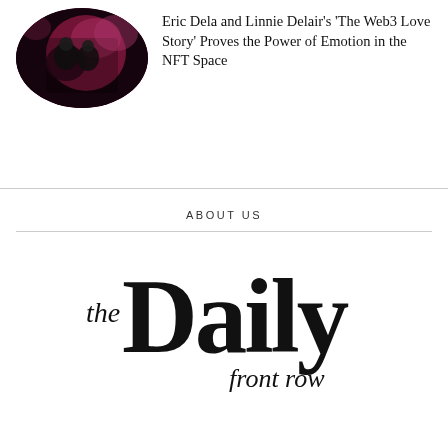[Figure (photo): Circular thumbnail photo of two people at a dark, purple-lit event venue]
Eric Dela and Linnie Delair's 'The Web3 Love Story' Proves the Power of Emotion in the NFT Space
ABOUT US
[Figure (logo): The Daily Front Row logo — bold black serif 'Daily' with script 'the' and 'front row' text]